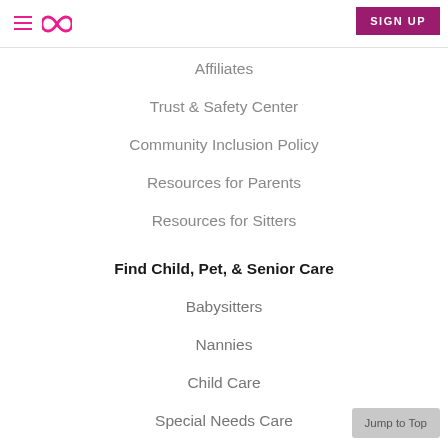Navigation header with hamburger menu, infinity logo, and SIGN UP button
Affiliates
Trust & Safety Center
Community Inclusion Policy
Resources for Parents
Resources for Sitters
Find Child, Pet, & Senior Care
Babysitters
Nannies
Child Care
Special Needs Care
Senior Care
Pet Care
Jump to Top